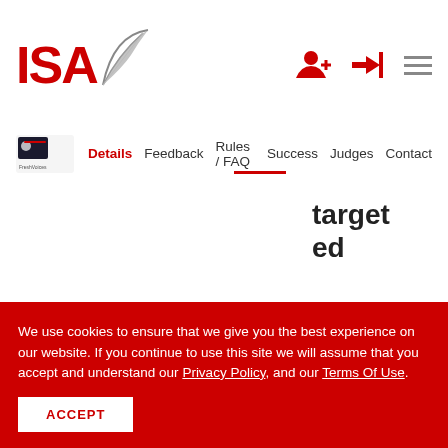[Figure (logo): ISA logo with stylized red text and feather graphic]
[Figure (logo): Fresh Voices logo, small thumbnail on the left of the navigation bar]
Details Feedback Rules / FAQ Success Judges Contact
targeted approach to promote our winners.
We use cookies to ensure that we give you the best experience on our website. If you continue to use this site we will assume that you accept and understand our Privacy Policy, and our Terms Of Use.
ACCEPT